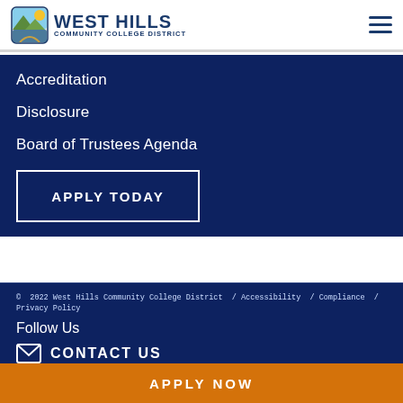West Hills Community College District
Accreditation
Disclosure
Board of Trustees Agenda
APPLY TODAY
© 2022 West Hills Community College District / Accessibility / Compliance / Privacy Policy
Follow Us
CONTACT US
APPLY NOW